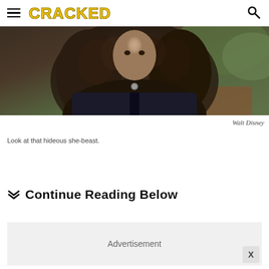CRACKED
[Figure (photo): A person with long curly dark hair wearing a dark jacket and tie with a pendant necklace, photographed outdoors with greenery in the background.]
Walt Disney
Look at that hideous she-beast.
Continue Reading Below
[Figure (other): Advertisement placeholder box with close button X]